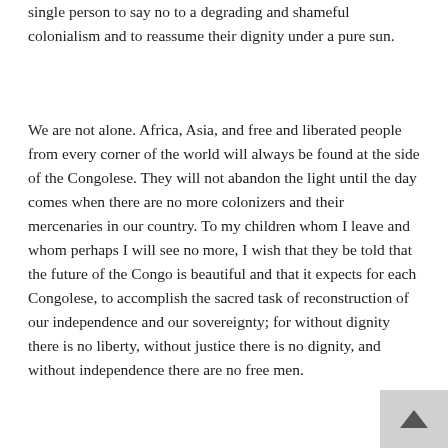single person to say no to a degrading and shameful colonialism and to reassume their dignity under a pure sun.
We are not alone. Africa, Asia, and free and liberated people from every corner of the world will always be found at the side of the Congolese. They will not abandon the light until the day comes when there are no more colonizers and their mercenaries in our country. To my children whom I leave and whom perhaps I will see no more, I wish that they be told that the future of the Congo is beautiful and that it expects for each Congolese, to accomplish the sacred task of reconstruction of our independence and our sovereignty; for without dignity there is no liberty, without justice there is no dignity, and without independence there are no free men.